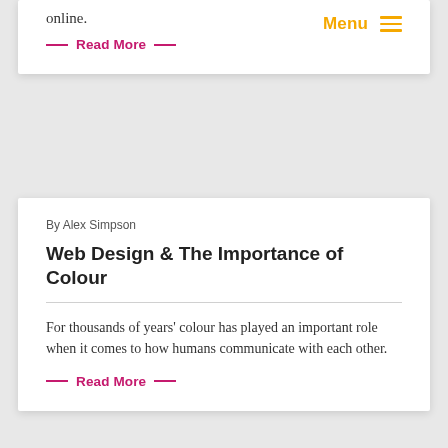online.
— Read More —
Menu ☰
By Alex Simpson
Web Design & The Importance of Colour
For thousands of years' colour has played an important role when it comes to how humans communicate with each other.
— Read More —